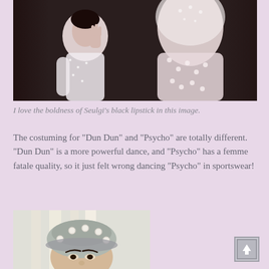[Figure (photo): Two people in white lace/sheer garments, one facing the other with hand raised near face, dark background, feminine aesthetic]
I love the boldness of Seulgi's black lipstick in this image.
The costuming for "Dun Dun" and "Psycho" are totally different. "Dun Dun" is a more powerful dance, and "Psycho" has a femme fatale quality, so it just felt wrong dancing "Psycho" in sportswear!
[Figure (photo): Person wearing a pale gray beret with pearl embellishments, light background, close-up portrait]
[Figure (other): Scroll-to-top button with upward arrow]